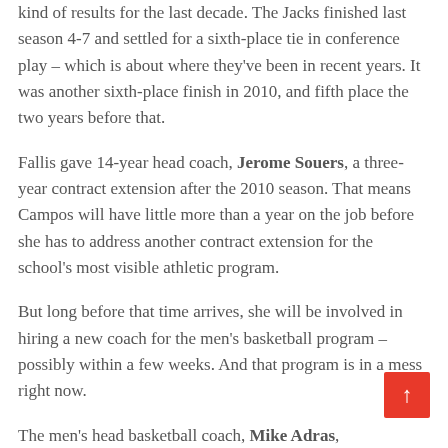kind of results for the last decade. The Jacks finished last season 4-7 and settled for a sixth-place tie in conference play – which is about where they've been in recent years. It was another sixth-place finish in 2010, and fifth place the two years before that.
Fallis gave 14-year head coach, Jerome Souers, a three-year contract extension after the 2010 season. That means Campos will have little more than a year on the job before she has to address another contract extension for the school's most visible athletic program.
But long before that time arrives, she will be involved in hiring a new coach for the men's basketball program – possibly within a few weeks. And that program is in a mess right now.
The men's head basketball coach, Mike Adras,